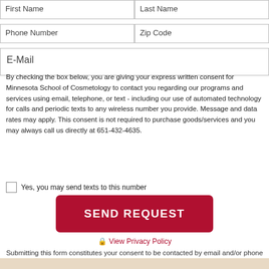[Figure (other): Web form with input fields: First Name, Last Name, Phone Number, Zip Code, E-Mail]
By checking the box below, you are giving your express written consent for Minnesota School of Cosmetology to contact you regarding our programs and services using email, telephone, or text - including our use of automated technology for calls and periodic texts to any wireless number you provide. Message and data rates may apply. This consent is not required to purchase goods/services and you may always call us directly at 651-432-4635.
Yes, you may send texts to this number
SEND REQUEST
View Privacy Policy
Submitting this form constitutes your consent to be contacted by email and/or phone from a representative of the school.